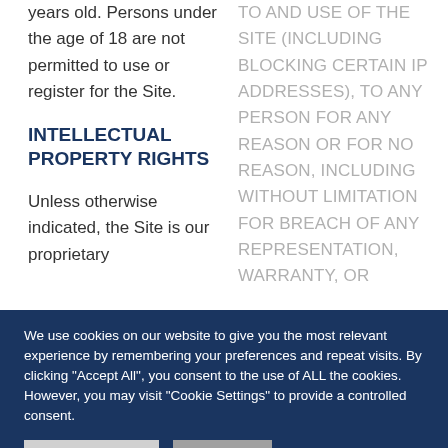years old. Persons under the age of 18 are not permitted to use or register for the Site.
INTELLECTUAL PROPERTY RIGHTS
Unless otherwise indicated, the Site is our proprietary
TO AND USE OF THE SITE (INCLUDING BLOCKING CERTAIN IP ADDRESSES), TO ANY PERSON FOR ANY REASON OR FOR NO REASON, INCLUDING WITHOUT LIMITATION FOR BREACH OF ANY REPRESENTATION, WARRANTY, OR
We use cookies on our website to give you the most relevant experience by remembering your preferences and repeat visits. By clicking "Accept All", you consent to the use of ALL the cookies. However, you may visit "Cookie Settings" to provide a controlled consent.
Cookie Settings
Accept All